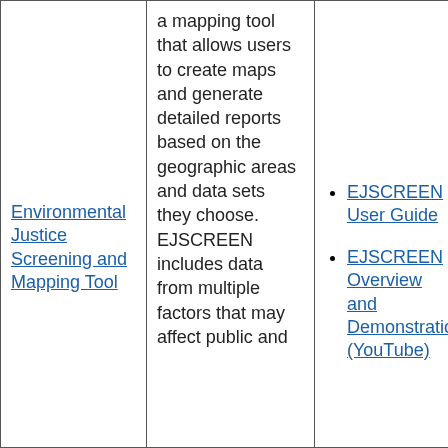Environmental Justice Screening and Mapping Tool
a mapping tool that allows users to create maps and generate detailed reports based on the geographic areas and data sets they choose. EJSCREEN includes data from multiple factors that may affect public and
EJSCREEN User Guide
EJSCREEN Overview and Demonstration (YouTube)